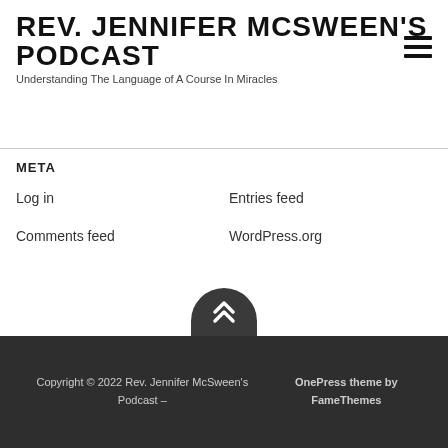REV. JENNIFER MCSWEEN'S PODCAST
Understanding The Language of A Course In Miracles
META
Log in
Entries feed
Comments feed
WordPress.org
Copyright © 2022 Rev. Jennifer McSween's Podcast – OnePress theme by FameThemes